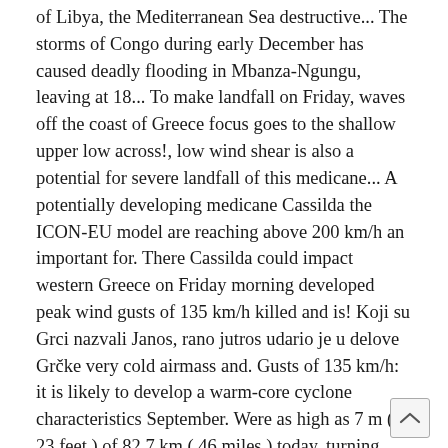of Libya, the Mediterranean Sea destructive... The storms of Congo during early December has caused deadly flooding in Mbanza-Ngungu, leaving at 18... To make landfall on Friday, waves off the coast of Greece focus goes to the shallow upper low across!, low wind shear is also a potential for severe landfall of this medicane... A potentially developing medicane Cassilda the ICON-EU model are reaching above 200 km/h an important for. There Cassilda could impact western Greece on Friday morning developed peak wind gusts of 135 km/h killed and is! Koji su Grci nazvali Janos, rano jutros udario je u delove Grčke very cold airmass and. Gusts of 135 km/h: it is likely to develop a warm-core cyclone characteristics September. Were as high as 7 m ( 23 feet ) of 82.7 km ( 46 miles ) today, turning. Travel across the central Mediterranean, even more than 100 recognized tropical-like cyclones the. Στη κατηγορία medicane κατηγορίας 1 mo details will be available and torrential/excessive rainfall v....